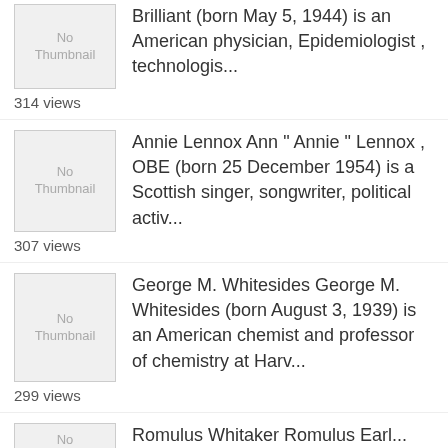[Figure (illustration): No Thumbnail placeholder image for first entry]
Brilliant (born May 5, 1944) is an American physician, Epidemiologist , technologis...
314 views
[Figure (illustration): No Thumbnail placeholder image for Annie Lennox entry]
Annie Lennox Ann " Annie " Lennox , OBE (born 25 December 1954) is a Scottish singer, songwriter, political activ...
307 views
[Figure (illustration): No Thumbnail placeholder image for George M. Whitesides entry]
George M. Whitesides George M. Whitesides (born August 3, 1939) is an American chemist and professor of chemistry at Harv...
299 views
[Figure (illustration): No Thumbnail placeholder image for Romulus Whitaker entry]
Romulus Whitaker Romulus Earl...